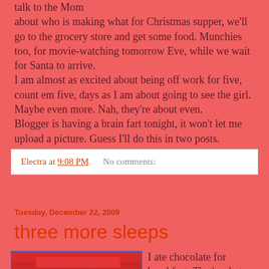talk to the Mom about who is making what for Christmas supper, we'll go to the grocery store and get some food. Munchies too, for movie-watching tomorrow Eve, while we wait for Santa to arrive.
I am almost as excited about being off work for five, count em five, days as I am about going to see the girl. Maybe even more. Nah, they're about even.
Blogger is having a brain fart tonight, it won't let me upload a picture. Guess I'll do this in two posts.
Electra at 9:08 PM    No comments:
Tuesday, December 22, 2009
three more sleeps
[Figure (photo): Photo of a red/pink box, possibly chocolate box, with cursive text on it]
I ate chocolate for breakfast. That's what we do at